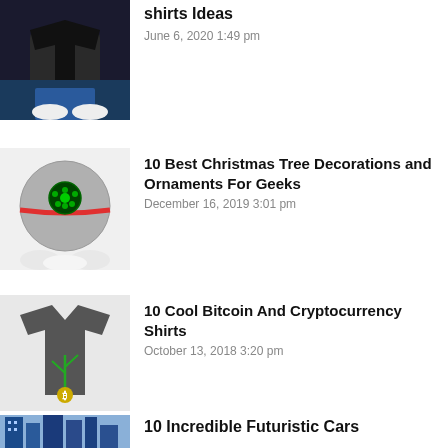[Figure (photo): Black t-shirt with graphic design, person sitting]
shirts Ideas
June 6, 2020 1:49 pm
[Figure (photo): Death Star ornament with green lights and red stripe]
10 Best Christmas Tree Decorations and Ornaments For Geeks
December 16, 2019 3:01 pm
[Figure (photo): Gray t-shirt with Bitcoin/cryptocurrency graphic]
10 Cool Bitcoin And Cryptocurrency Shirts
October 13, 2018 3:20 pm
[Figure (photo): Futuristic city/cars image]
10 Incredible Futuristic Cars